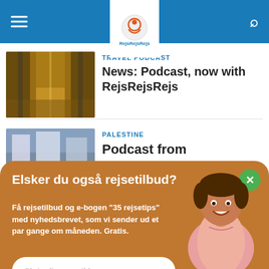RejsRejsRejs navigation bar
TRAVEL PODCAST
News: Podcast, now with RejsRejsRejs
[Figure (photo): Narrow alley street with warm golden lighting, urban scene]
PALESTINE
Podcast from
[Figure (photo): Busy city street in Palestine with buildings and traffic]
[Figure (logo): POWERED BY SUMO badge]
Elsker du også rejsetilbud?
Få rejsetilbud og e-bogen "35 rejsetips" med nyhedsbrevet, som vi sender ud et par gange om måneden. Gratis.
Skriv din e-mail her
Ja tak, jeg vil gerne have e-bog og nyhedsbrev